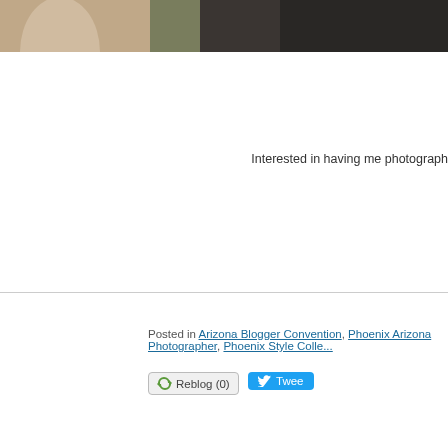[Figure (photo): Top portion of a photograph showing two people, cropped at top of page]
Interested in having me photograph
Posted in Arizona Blogger Convention, Phoenix Arizona Photographer, Phoenix Style Colle...
[Figure (screenshot): Reblog (0) button with reblog icon]
[Figure (screenshot): Tweet button in blue]
[Figure (screenshot): Pin it button with red border]
20 MARCH
{More Phoenix St
[Figure (photo): Photo of a woman with colorful highlighted wavy hair wearing a teal top, back view; second photo partially visible on right]